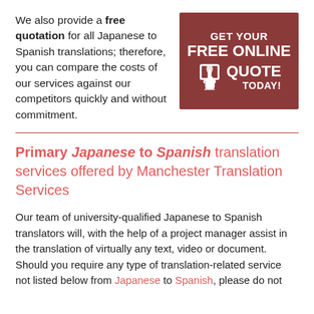We also provide a free quotation for all Japanese to Spanish translations; therefore, you can compare the costs of our services against our competitors quickly and without commitment.
[Figure (infographic): Dark red/maroon rectangular banner with white bold text reading 'GET YOUR FREE ONLINE QUOTE TODAY!' with a white hand/cursor icon on the left side.]
Primary Japanese to Spanish translation services offered by Manchester Translation Services
Our team of university-qualified Japanese to Spanish translators will, with the help of a project manager assist in the translation of virtually any text, video or document. Should you require any type of translation-related service not listed below from Japanese to Spanish, please do not